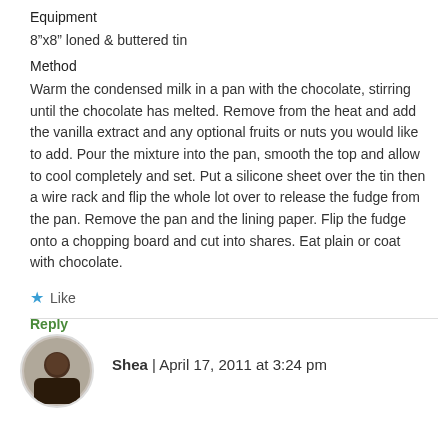Equipment
8"x8" loned & buttered tin
Method
Warm the condensed milk in a pan with the chocolate, stirring until the chocolate has melted. Remove from the heat and add the vanilla extract and any optional fruits or nuts you would like to add. Pour the mixture into the pan, smooth the top and allow to cool completely and set. Put a silicone sheet over the tin then a wire rack and flip the whole lot over to release the fudge from the pan. Remove the pan and the lining paper. Flip the fudge onto a chopping board and cut into shares. Eat plain or coat with chocolate.
★ Like
Reply
Shea | April 17, 2011 at 3:24 pm